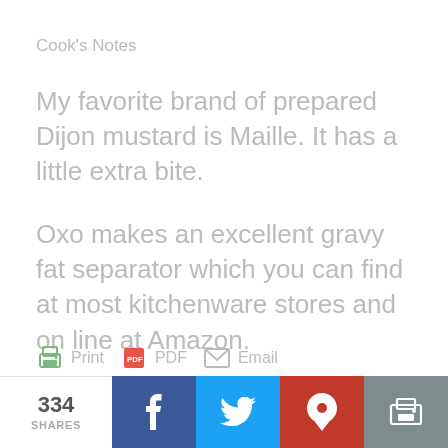Cook’s Notes
My favorite brand of prepared Dijon mustard is Maille. It has a little extra bite.
Oxo makes an excellent gravy fat separator which you can find at most kitchenware stores and on line at Amazon.
[Figure (other): Share buttons row: Print icon, PDF icon, Email icon]
334 SHARES | Facebook | Twitter | Pinterest | Print